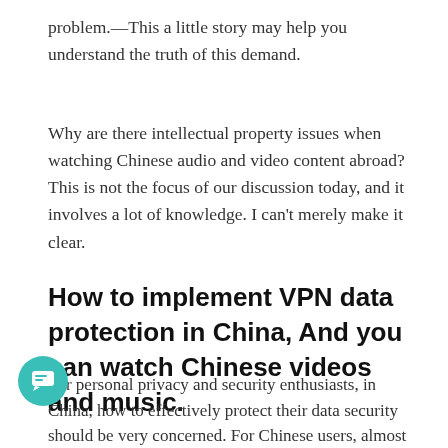problem.—This a little story may help you understand the truth of this demand.
Why are there intellectual property issues when watching Chinese audio and video content abroad? This is not the focus of our discussion today, and it involves a lot of knowledge. I can't merely make it clear.
How to implement VPN data protection in China, And you can watch Chinese videos and music.
For personal privacy and security enthusiasts, in China, how to effectively protect their data security should be very concerned. For Chinese users, almost all (at least